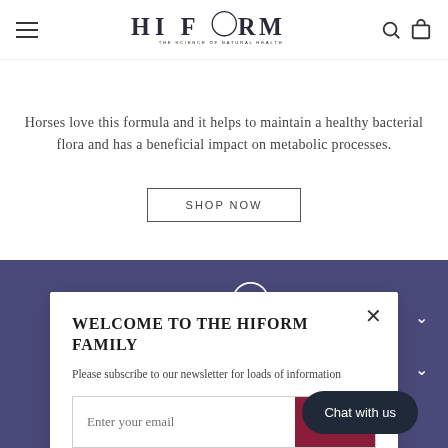HI FORM — THE SCIENCE OF NATURAL HEALTH (navigation header with hamburger menu, logo, search and cart icons)
Horses love this formula and it helps to maintain a healthy bacterial flora and has a beneficial impact on metabolic processes.
SHOP NOW
[Figure (logo): HI FORM logo — THE SCIENCE OF NATURAL HEALTH — white text on dark purple background]
WELCOME TO THE HIFORM FAMILY
Please subscribe to our newsletter for loads of information
Enter your email
Chat with us